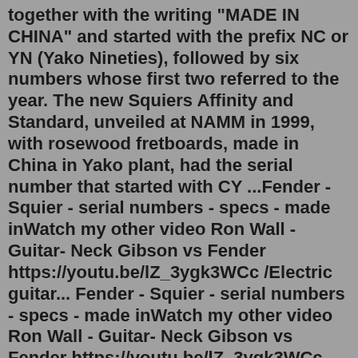together with the writing "MADE IN CHINA" and started with the prefix NC or YN (Yako Nineties), followed by six numbers whose first two referred to the year. The new Squiers Affinity and Standard, unveiled at NAMM in 1999, with rosewood fretboards, made in China in Yako plant, had the serial number that started with CY ...Fender - Squier - serial numbers - specs - made inWatch my other video Ron Wall - Guitar- Neck Gibson vs Fender https://youtu.be/lZ_3ygk3WCc /Electric guitar... Fender - Squier - serial numbers - specs - made inWatch my other video Ron Wall - Guitar- Neck Gibson vs Fender https://youtu.be/lZ_3ygk3WCc /Electric guitar... Fender - Squier - serial numbers - specs - made inWatch my other video Ron Wall - Guitar- Neck Gibson vs Fender https://youtu.be/lZ_3ygk3WCc /Electric guitar... Feb 18, 2022 · It's simple enough with our Guitar Serial Number Lookup Decoders. Type your serial numbers into our database below, and you'll get all the information the internet has on the instrument. At